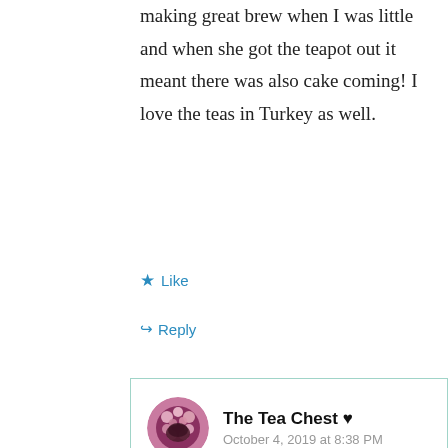making great brew when I was little and when she got the teapot out it meant there was also cake coming! I love the teas in Turkey as well.
Like
Reply
The Tea Chest ♥
October 4, 2019 at 8:38 PM
Love that #teaporn😍 great memories are created with tea and cake. Turkish teas are